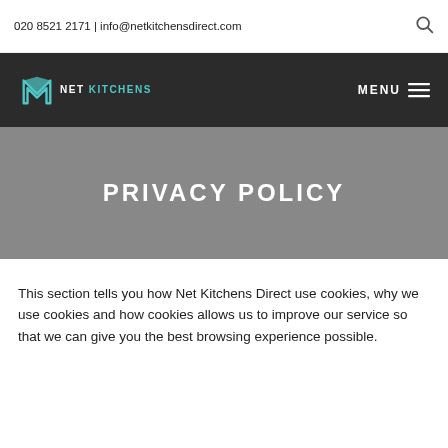020 8521 2171 | info@netkitchensdirect.com
[Figure (logo): Net Kitchens logo with stylized N icon and teal/white text on dark background, with MENU navigation]
PRIVACY POLICY
This section tells you how Net Kitchens Direct use cookies, why we use cookies and how cookies allows us to improve our service so that we can give you the best browsing experience possible.